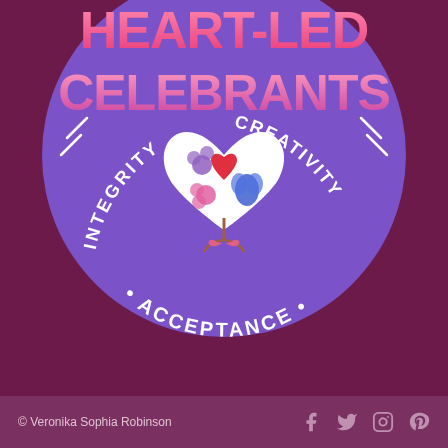[Figure (logo): Heart-Led Celebrants circular logo on dark purple background. Circle in medium purple with 'HEART-LED CELEBRANTS' in large bold pink/white gradient text at top. A white heart containing illustrated flowers (red heart flower, pink flower, blue flower, purple flower) in center. Curved text around bottom reads 'INTEGRITY • ACCEPTANCE • CREATIVITY'. Decorative slash marks on left and right sides of circle.]
© Veronika Sophia Robinson